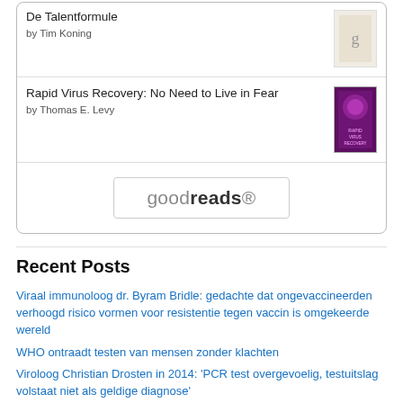De Talentformule
by Tim Koning
Rapid Virus Recovery: No Need to Live in Fear
by Thomas E. Levy
[Figure (logo): goodreads logo button]
Recent Posts
Viraal immunoloog dr. Byram Bridle: gedachte dat ongevaccineerden verhoogd risico vormen voor resistentie tegen vaccin is omgekeerde wereld
WHO ontraadt testen van mensen zonder klachten
Viroloog Christian Drosten in 2014: 'PCR test overgevoelig, testuitslag volstaat niet als geldige diagnose'